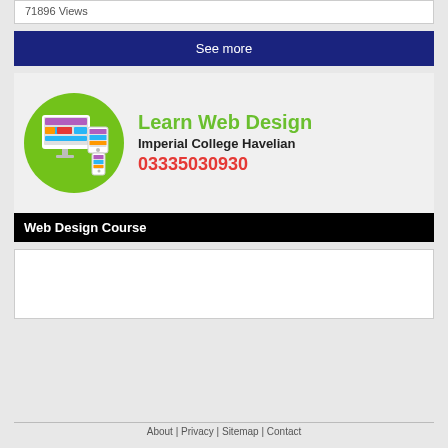71896 Views
See more
[Figure (illustration): Learn Web Design ad banner for Imperial College Havelian with green circle logo showing monitor, tablet, and phone devices. Text: Learn Web Design, Imperial College Havelian, 03335030930]
Web Design Course
About | Privacy | Sitemap | Contact